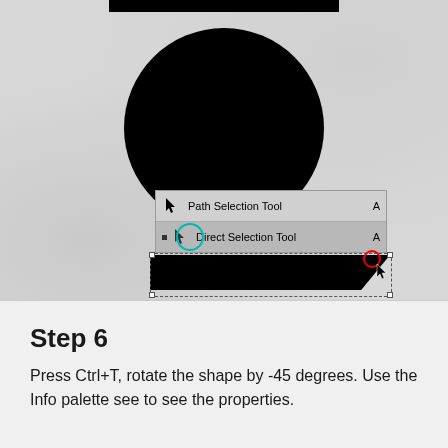[Figure (screenshot): Photoshop-like interface showing a canvas with a black circle and black bar shape, a tool context menu showing 'Path Selection Tool A' and 'Direct Selection Tool A' with a teal circle highlight around the Direct Selection Tool icon, and a selection box around the black bar with a red circle anchor point at the top-right corner and a cursor icon.]
Step 6
Press Ctrl+T, rotate the shape by -45 degrees. Use the Info palette see to see the properties.